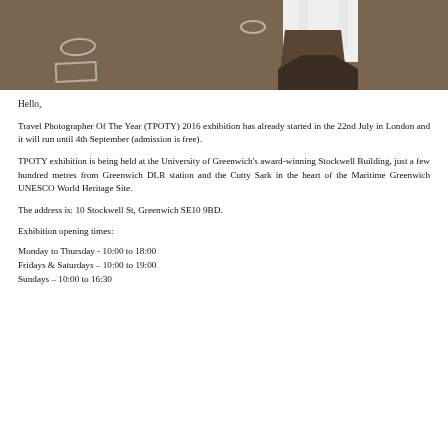[Figure (photo): Interior exhibition space photo showing a brown floor with ellipse and rectangle floor markers, and a white display stand/panel structure on the right side against a dark background.]
Hello,
Travel Photographer Of The Year (TPOTY) 2016 exhibition has already started in the 22nd July in London and it will run until 4th September (admission is free).
TPOTY exhibition is being held at the University of Greenwich's award-winning Stockwell Building, just a few hundred metres from Greenwich DLR station and the Cutty Sark in the heart of the Maritime Greenwich UNESCO World Heritage Site.
The address is: 10 Stockwell St, Greenwich SE10 9BD.
Exhibition opening times:
Monday to Thursday - 10:00 to 18:00
Fridays & Saturdays – 10:00 to 19:00
Sundays – 10:00 to 16:30